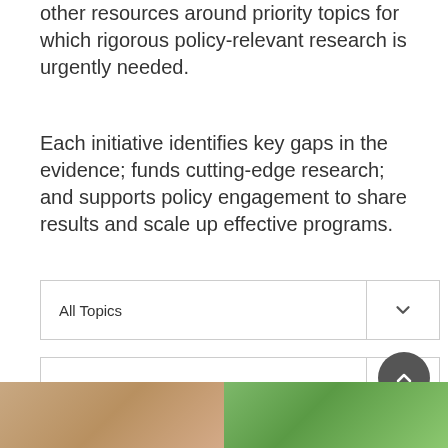other resources around priority topics for which rigorous policy-relevant research is urgently needed.
Each initiative identifies key gaps in the evidence; funds cutting-edge research; and supports policy engagement to share results and scale up effective programs.
[Figure (screenshot): Dropdown filter widget labeled 'All Topics' with a chevron/arrow on the right side]
[Figure (screenshot): Dropdown filter widget labeled 'J-PAL North America' with a chevron/arrow on the right side]
[Figure (photo): Partial photo strip at bottom of page showing hands on left side and green foliage on right side]